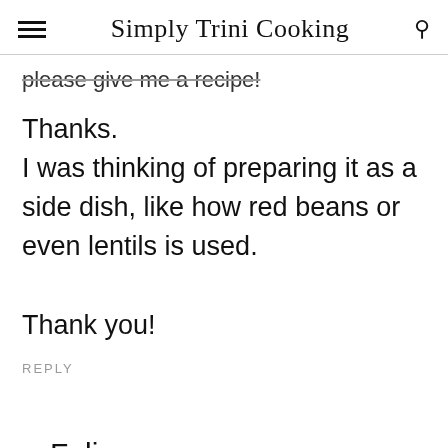Simply Trini Cooking
please give me a recipe!
Thanks.
I was thinking of preparing it as a side dish, like how red beans or even lentils is used.

Thank you!
REPLY
Felix